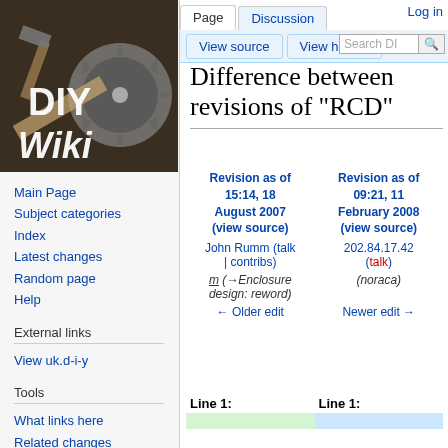[Figure (logo): DIY Wiki logo — tools image with circular saw blade, hammer, ruler, with text 'DIY Wiki' overlaid in white]
Main Page
Subject categories
Index
Latest changes
Random page
Help
External links
View uk.d-i-y
Tools
What links here
Related changes
Special pages
Log in
Difference between revisions of "RCD"
| Revision as of 15:14, 18 August 2007 (view source) | Revision as of 09:21, 11 February 2008 (view source) |
| --- | --- |
| John Rumm (talk | contribs) | 202.84.17.42 (talk) |
| m (→Enclosure design: reword) | (noraca) |
| ← Older edit | Newer edit → |
| Line 1: | Line 1: |